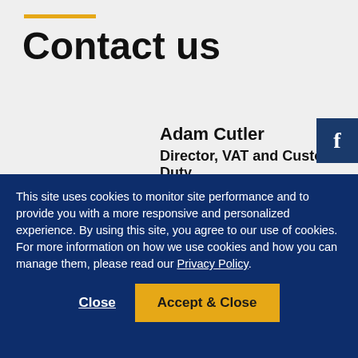Contact us
Adam Cutler
Director, VAT and Customs Duty
This site uses cookies to monitor site performance and to provide you with a more responsive and personalized experience. By using this site, you agree to our use of cookies. For more information on how we use cookies and how you can manage them, please read our Privacy Policy.
Close
Accept & Close